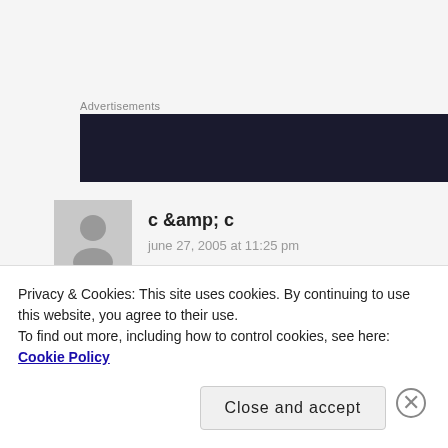Advertisements
[Figure (other): Dark advertisement banner block]
c &amp; c
june 27, 2005 at 11:25 pm
yeah and he also made marijuana out of tiny
Privacy & Cookies: This site uses cookies. By continuing to use this website, you agree to their use.
To find out more, including how to control cookies, see here: Cookie Policy
Close and accept